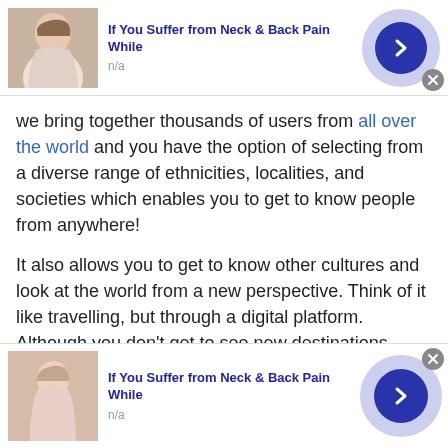[Figure (infographic): Top advertisement banner: 'If You Suffer from Neck & Back Pain While' with n/a subtitle, person image on left, blue arrow button on right with light purple circle background, gray close X button]
we bring together thousands of users from all over the world and you have the option of selecting from a diverse range of ethnicities, localities, and societies which enables you to get to know people from anywhere!
It also allows you to get to know other cultures and look at the world from a new perspective. Think of it like travelling, but through a digital platform. Although you don't get to see new destinations every day like you would on a vacation, you are meeting new people and learning about other cultures.
[Figure (infographic): Bottom advertisement banner: 'If You Suffer from Neck & Back Pain While' with n/a subtitle, person image on left, blue arrow button on right with light purple circle background, gray close X button]